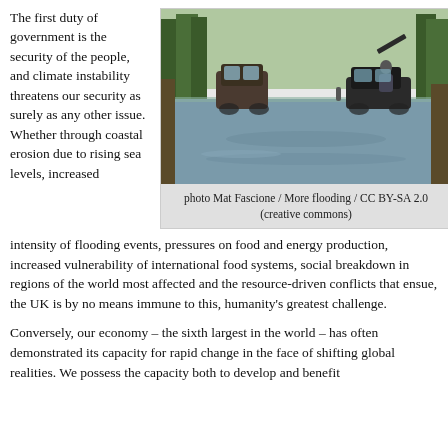The first duty of government is the security of the people, and climate instability threatens our security as surely as any other issue. Whether through coastal erosion due to rising sea levels, increased intensity of flooding events, pressures on food and energy production, increased vulnerability of international food systems, social breakdown in regions of the world most affected and the resource-driven conflicts that ensue, the UK is by no means immune to this, humanity's greatest challenge.
[Figure (photo): A flooded road with cars driving through floodwater, lined with trees on both sides. A person with the car hood open is visible on the right side.]
photo Mat Fascione / More flooding / CC BY-SA 2.0 (creative commons)
Conversely, our economy – the sixth largest in the world – has often demonstrated its capacity for rapid change in the face of shifting global realities. We possess the capacity both to develop and benefit